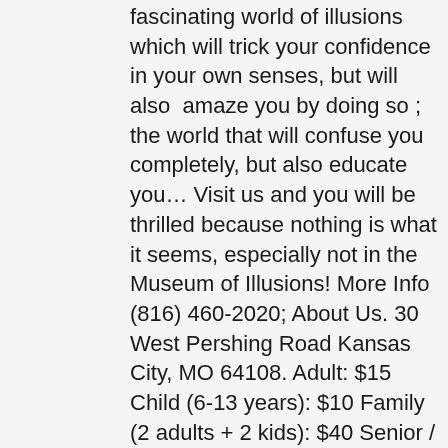fascinating world of illusions  which will trick your confidence in your own senses, but will also  amaze you by doing so ; the world that will confuse you completely, but also educate you… Visit us and you will be thrilled because nothing is what it seems, especially not in the Museum of Illusions! More Info (816) 460-2020; About Us. 30 West Pershing Road Kansas City, MO 64108. Adult: $15 Child (6-13 years): $10 Family (2 adults + 2 kids): $40 Senior / Student: $12 Union Station Members: 10% discount ... DJs, managers, trainers, all according to your needs and wishes. A new and permanent attraction at Union Station called Museum of Illusions opens Friday, Oct. 19, to mess with visitors' minds through visual and sensory perceptions. Money Museum 1 Memorial Dr. Kansas City, MO (816) 881-2683. All our illusions are worth remembering. Museum of Illusions Kansas City turns one year old this week! Forced Perspective at Museum of Illusions. Amusing and awesome tricks will teach you about vision, perception, the human brain and science so it will be easier to perceive why your eyes see things which your brain